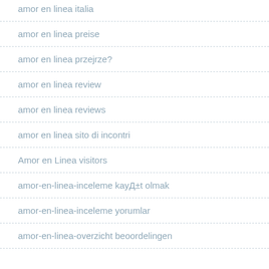amor en linea italia
amor en linea preise
amor en linea przejrze?
amor en linea review
amor en linea reviews
amor en linea sito di incontri
Amor en Linea visitors
amor-en-linea-inceleme kayД±t olmak
amor-en-linea-inceleme yorumlar
amor-en-linea-overzicht beoordelingen